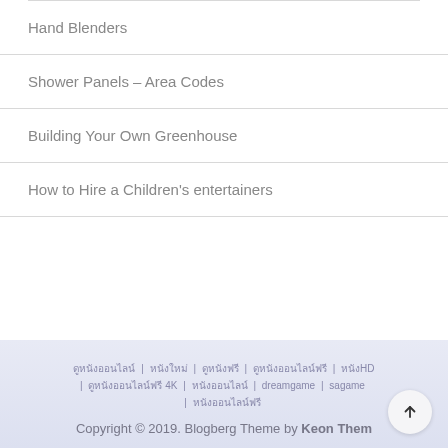Hand Blenders
Shower Panels – Area Codes
Building Your Own Greenhouse
How to Hire a Children's entertainers
ดูหนังออนไลน์ | หนังใหม่ | ดูหนังฟรี | ดูหนังออนไลน์ฟรี | หนังHD | ดูหนังออนไลน์ฟรี4K | หนังออนไลน์ | dreamgame | sagame | หนังออนไลน์ฟรี
Copyright © 2019. Blogberg Theme by Keon Them